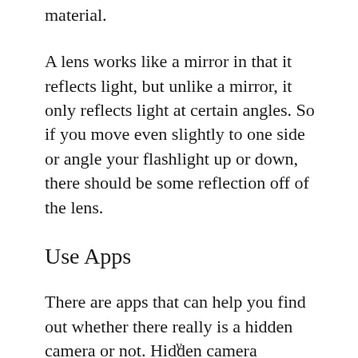material.
A lens works like a mirror in that it reflects light, but unlike a mirror, it only reflects light at certain angles. So if you move even slightly to one side or angle your flashlight up or down, there should be some reflection off of the lens.
Use Apps
There are apps that can help you find out whether there really is a hidden camera or not. Hidden camera detector apps work on various methods to identify if there's a hidden camera.
v